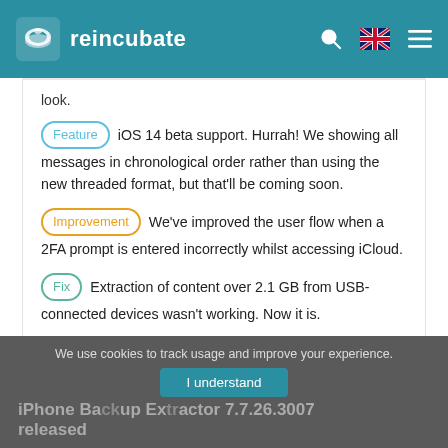reincubate
look.
Feature iOS 14 beta support. Hurrah! We showing all messages in chronological order rather than using the new threaded format, but that'll be coming soon.
Improvement We've improved the user flow when a 2FA prompt is entered incorrectly whilst accessing iCloud.
Fix Extraction of content over 2.1 GB from USB-connected devices wasn't working. Now it is.
We use cookies to track usage and improve your experience. I understand iPhone Backup Extractor 7.7.26.3007 released